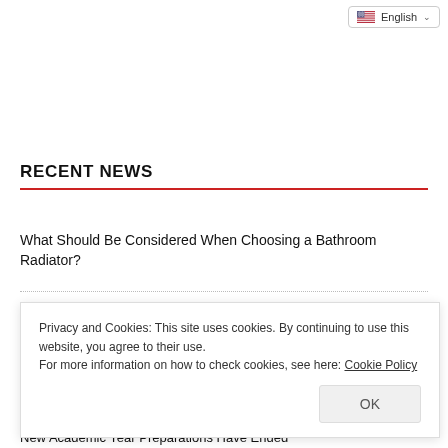[Figure (screenshot): Language selector dropdown showing English with a US flag icon and chevron]
RECENT NEWS
What Should Be Considered When Choosing a Bathroom Radiator?
Expand My Digital Processing
Privacy and Cookies: This site uses cookies. By continuing to use this website, you agree to their use.
For more information on how to check cookies, see here: Cookie Policy
OK
New Academic Year Preparations Have Ended